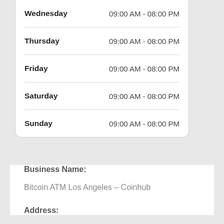| Day | Hours |
| --- | --- |
| Wednesday | 09:00 AM - 08:00 PM |
| Thursday | 09:00 AM - 08:00 PM |
| Friday | 09:00 AM - 08:00 PM |
| Saturday | 09:00 AM - 08:00 PM |
| Sunday | 09:00 AM - 08:00 PM |
Business Name:
Bitcoin ATM Los Angeles – Coinhub
Address: